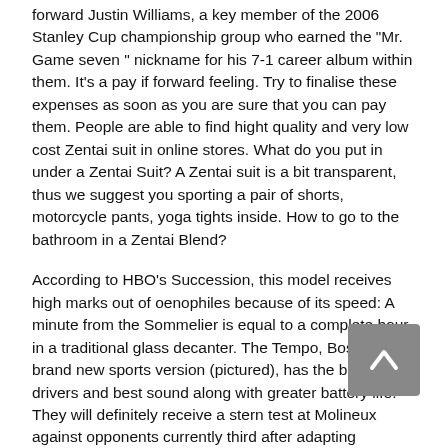forward Justin Williams, a key member of the 2006 Stanley Cup championship group who earned the “Mr. Game seven ” nickname for his 7-1 career album within them. It’s a pay if forward feeling. Try to finalise these expenses as soon as you are sure that you can pay them. People are able to find hight quality and very low cost Zentai suit in online stores. What do you put in under a Zentai Suit? A Zentai suit is a bit transparent, thus we suggest you sporting a pair of shorts, motorcycle pants, yoga tights inside. How to go to the bathroom in a Zentai Blend?
According to HBO’s Succession, this model receives high marks out of oenophiles because of its speed: A minute from the Sommelier is equal to a complete hour in a traditional glass decanter. The Tempo, Bose’s brand new sports version (pictured), has the biggest drivers and best sound along with greater battery life. They will definitely receive a stern test at Molineux against opponents currently third after adapting effortlessly back into life at this level following promotion. In addition to this basic information, you’ll also be able to understand more about the amount of fours and sixes hit by